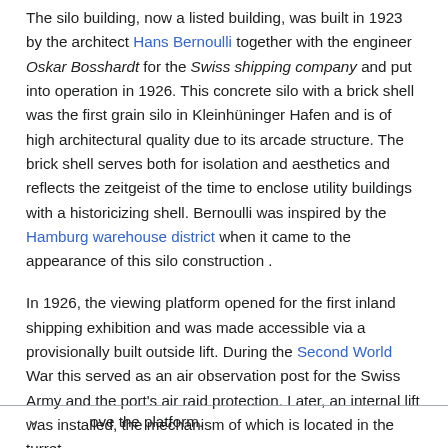The silo building, now a listed building, was built in 1923 by the architect Hans Bernoulli together with the engineer Oskar Bosshardt for the Swiss shipping company and put into operation in 1926. This concrete silo with a brick shell was the first grain silo in Kleinhüninger Hafen and is of high architectural quality due to its arcade structure. The brick shell serves both for isolation and aesthetics and reflects the zeitgeist of the time to enclose utility buildings with a historicizing shell. Bernoulli was inspired by the Hamburg warehouse district when it came to the appearance of this silo construction .
In 1926, the viewing platform opened for the first inland shipping exhibition and was made accessible via a provisionally built outside lift. During the Second World War this served as an air observation post for the Swiss Army and the port's air raid protection. Later, an internal lift was installed, the mechanism of which is located in the turret ove the platform.